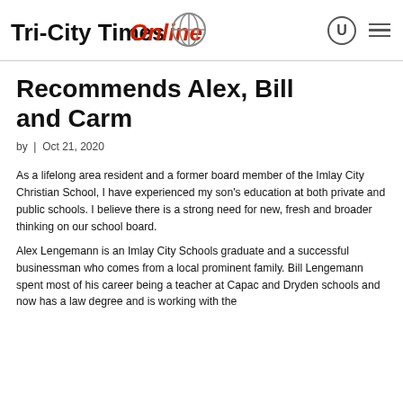Tri-City Times Online
Recommends Alex, Bill and Carm
by | Oct 21, 2020
As a lifelong area resident and a former board member of the Imlay City Christian School, I have experienced my son's education at both private and public schools. I believe there is a strong need for new, fresh and broader thinking on our school board.
Alex Lengemann is an Imlay City Schools graduate and a successful businessman who comes from a local prominent family. Bill Lengemann spent most of his career being a teacher at Capac and Dryden schools and now has a law degree and is working with the